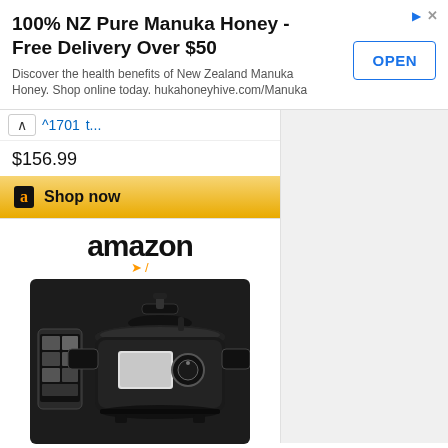[Figure (screenshot): Advertisement banner for 100% NZ Pure Manuka Honey with OPEN button]
100% NZ Pure Manuka Honey - Free Delivery Over $50
Discover the health benefits of New Zealand Manuka Honey. Shop online today. hukahoneyhive.com/Manuka
^1701
t...
$156.99
Shop now
[Figure (screenshot): Amazon product widget showing CHEF iQ Smart Pressure Cooker with amazon logo, product image, price $159.00, Prime badge, and Shop now button]
CHEF iQ Smart Pressure...
$159.00
Shop now